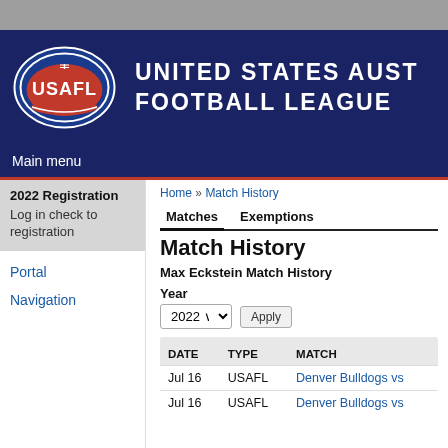[Figure (logo): USAFL logo - oval shape with red football and USAFL text in white on blue/red background]
UNITED STATES AUST FOOTBALL LEAGUE
Main menu
2022 Registration
Log in check to registration
Portal
Navigation
Home » Match History
Matches   Exemptions
Match History
Max Eckstein Match History
Year
2022 ∨   Apply
| DATE | TYPE | MATCH |
| --- | --- | --- |
| Jul 16 | USAFL | Denver Bulldogs vs |
| Jul 16 | USAFL | Denver Bulldogs vs |